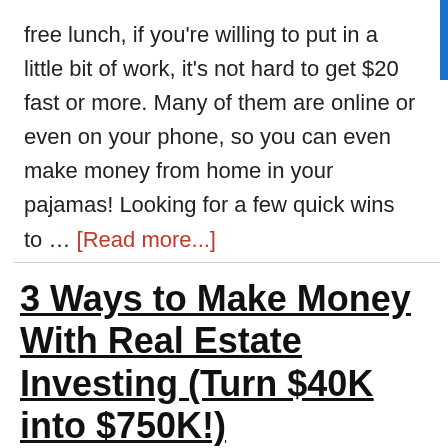free lunch, if you're willing to put in a little bit of work, it's not hard to get $20 fast or more. Many of them are online or even on your phone, so you can even make money from home in your pajamas! Looking for a few quick wins to … [Read more...]
3 Ways to Make Money With Real Estate Investing (Turn $40K into $750K!)